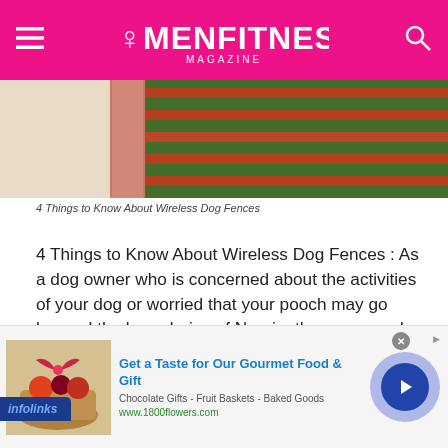WOMENFITNESS MAGAZINE
[Figure (photo): Aerial or close-up view of a garden with brick pathway and rows of red/orange flowers or plants]
4 Things to Know About Wireless Dog Fences
4 Things to Know About Wireless Dog Fences : As a dog owner who is concerned about the activities of your dog or worried that your pooch may go beyond the boundaries of Narnia, then you need a wireless dog fence. The fact that you cannot at all times be vigilant and aware of your dog's activities gives you every reason for keeping your dog safe.
[Figure (screenshot): Infolinks advertisement banner: Get a Taste for Our Gourmet Food & Gift — Chocolate Gifts, Fruit Baskets, Baked Goods — www.1800flowers.com]